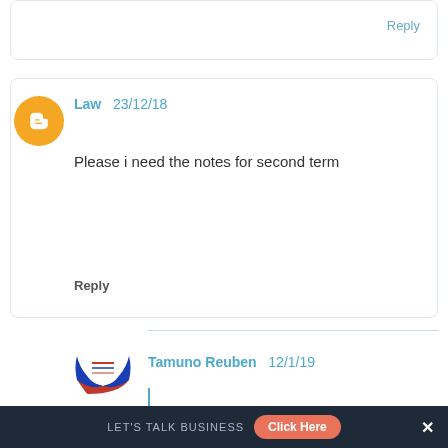Reply
Law   23/12/18
Please i need the notes for second term
Reply
Tamuno Reuben   12/1/19
Call/Whatsapp: 08035232107
LET'S TALK BUSINESS  Click Here  X